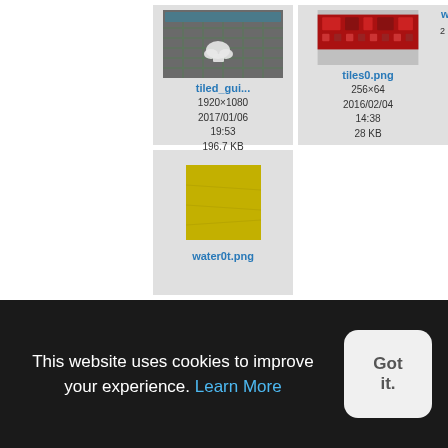[Figure (screenshot): Thumbnail of tiled_gui screenshot showing a dark canvas with green grid and a white/grey icon, file details: 1920×1080, 2017/01/06 19:53, 196.7 KB]
[Figure (screenshot): Thumbnail of tiles0.png showing a red circuit board image, file details: 256×64, 2016/02/04 14:38, 28 KB]
[Figure (screenshot): Thumbnail of water0t.png showing a yellow-green square texture]
This website uses cookies to improve your experience. Learn More
Got it.